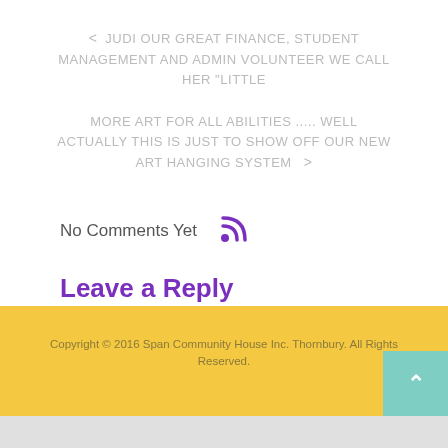< JUDI OUR GREAT FINANCE, STUDENT MANAGEMENT AND ADMIN VOLUNTEER we call her "little
MORE ART FOR ALL ABILITIES ..... WELL ACTUALLY THIS IS JUST TO SHOW OFF OUR NEW ART HANGING SYSTEM >
No Comments Yet
Leave a Reply
You must be logged in to post a comment.
Copyright © 2016 Span Community House Inc. Thornbury. All Rights Reserved.